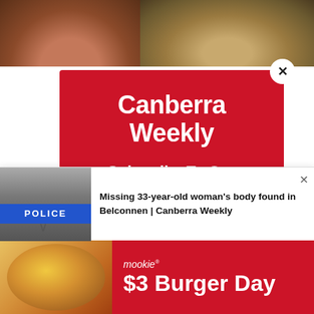[Figure (photo): Photo strip at top showing a woman and a lion face partially visible]
Two ...ted, six a...
The p... ile the Io...
The t...
[Figure (screenshot): Red modal popup for Canberra Weekly newsletter subscription with close button, logo, Subscribe To Our Newsletter heading, and description text]
Canberra Weekly
Subscribe To Our Newsletter
Join our mailing list to receive the latest news straight to your inbox.
[Figure (screenshot): Push notification bar showing police image and headline: Missing 33-year-old woman's body found in Belconnen | Canberra Weekly]
Missing 33-year-old woman's body found in Belconnen | Canberra Weekly
[Figure (infographic): Red advertisement banner for mookie $3 Burger Day showing a burger image on left and text on right]